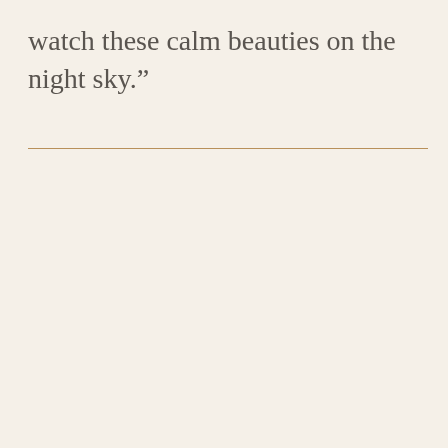watch these calm beauties on the night sky.”